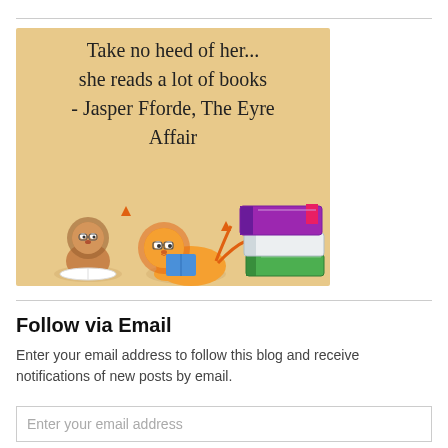[Figure (illustration): Illustrated image with sandy/beige background showing two cartoon lion cubs reading books, and a stack of colorful books (purple, white, green). Text overlay reads: 'Take no heed of her... she reads a lot of books - Jasper Fforde, The Eyre Affair']
Follow via Email
Enter your email address to follow this blog and receive notifications of new posts by email.
Enter your email address